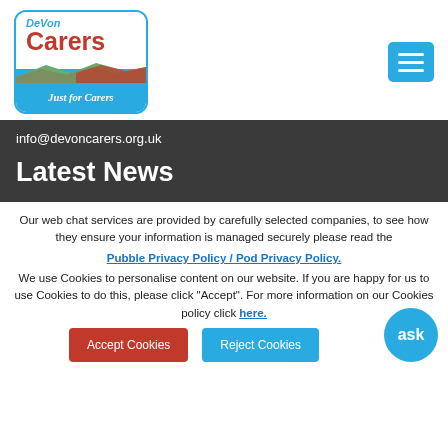[Figure (logo): Devon Carers logo with 'Just for Carers' tagline, blue border with rounded corners]
[Figure (screenshot): Blue hamburger menu button with three white horizontal lines]
info@devoncarers.org.uk
Latest News
Our web chat services are provided by carefully selected companies, to see how they ensure your information is managed securely please read the
Pubble Privacy Policy / Pod Privacy Policy.
We use Cookies to personalise content on our website. If you are happy for us to use Cookies to do this, please click "Accept". For more information on our Cookies policy click here.
Accept Cookies
Reject Cookies